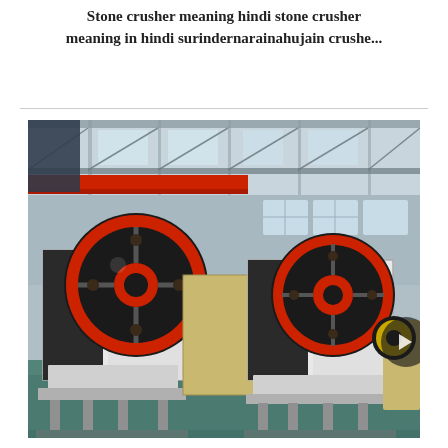Stone crusher meaning hindi stone crusher meaning in hindi surindernarainahujain crushe...
[Figure (photo): Industrial factory floor showing two large jaw crusher machines with prominent red and black flywheel discs, white painted steel frames, mounted on steel bases. The machines are inside a large factory/warehouse building with steel truss roof structure, red overhead crane beam visible in background. Factory floor appears to have a teal/blue-green polished concrete surface.]